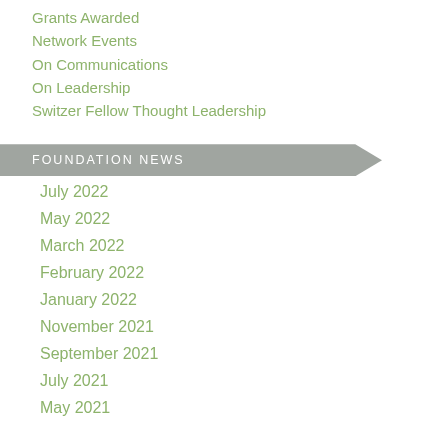Grants Awarded
Network Events
On Communications
On Leadership
Switzer Fellow Thought Leadership
FOUNDATION NEWS
July 2022
May 2022
March 2022
February 2022
January 2022
November 2021
September 2021
July 2021
May 2021